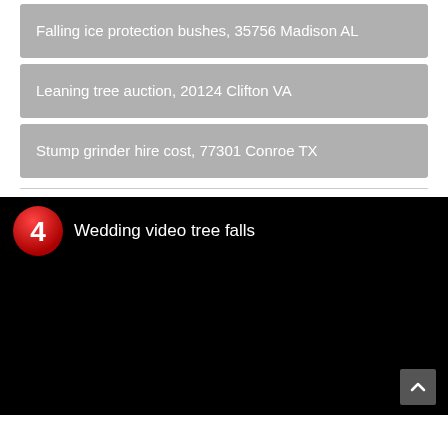Falling ice protection bushes, 35756 Madison AL
Leaning tree auction, 20124 Clifton VA
Stump grinder hire cost, 77301 Conroe TX
[Figure (screenshot): Black video player thumbnail with red numbered badge showing '4' and title 'Wedding video tree falls'. A grey scroll-to-top button is visible in the bottom right corner.]